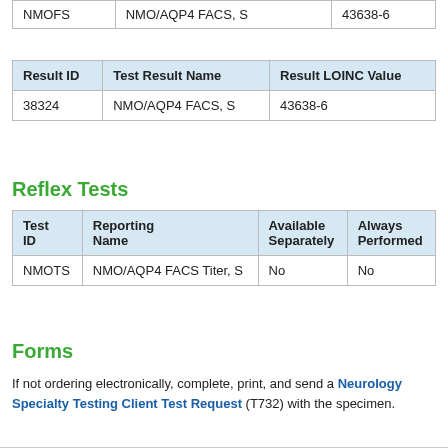| NMOFS | NMO/AQP4 FACS, S | 43638-6 |
| Result ID | Test Result Name | Result LOINC Value |
| --- | --- | --- |
| 38324 | NMO/AQP4 FACS, S | 43638-6 |
Reflex Tests
| Test ID | Reporting Name | Available Separately | Always Performed |
| --- | --- | --- | --- |
| NMOTS | NMO/AQP4 FACS Titer, S | No | No |
Forms
If not ordering electronically, complete, print, and send a Neurology Specialty Testing Client Test Request (T732) with the specimen.